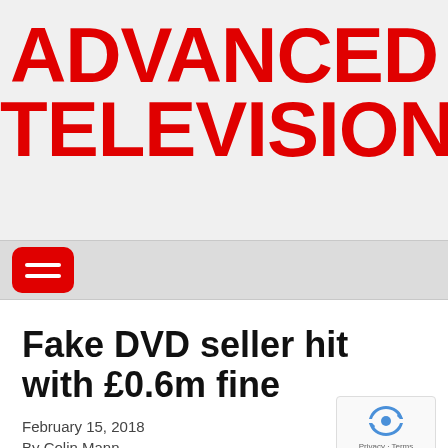ADVANCED TELEVISION
[Figure (other): Red hamburger menu button on grey navigation bar]
Fake DVD seller hit with £0.6m fine
February 15, 2018
By Colin Mann